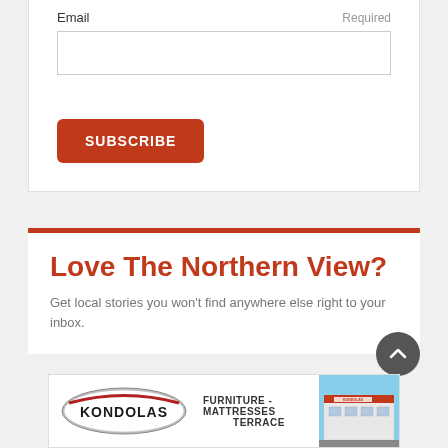Email
Required
SUBSCRIBE
Love The Northern View?
Get local stories you won't find anywhere else right to your inbox.
[Figure (logo): Kondolas Furniture advertisement banner with logo, text 'FURNITURE - MATTRESSES TERRACE', and building photo]